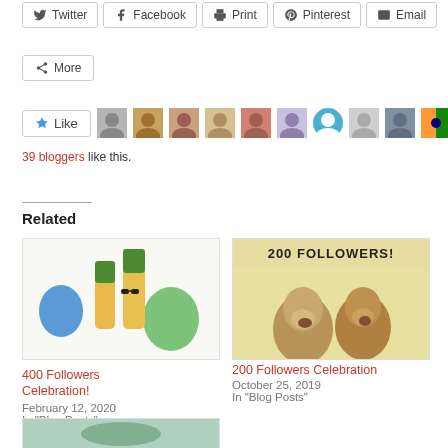Twitter
Facebook
Print
Pinterest
Email
More
[Figure (other): Like button with star icon followed by 10 blogger avatar thumbnails]
39 bloggers like this.
Related
[Figure (photo): Pineapples with sunglasses and colorful balloons on white background]
400 Followers Celebration!
February 12, 2020
In "Blog Posts"
[Figure (photo): Monkeys with text '200 FOLLOWERS!' overlaid at top]
200 Followers Celebration
October 25, 2019
In "Blog Posts"
[Figure (photo): Partial image at bottom of page, partially visible]